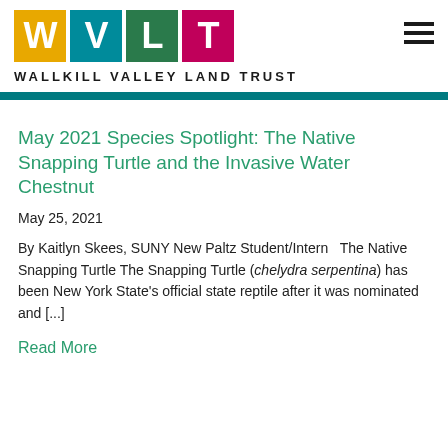[Figure (logo): Wallkill Valley Land Trust logo with four colored squares (yellow W, teal V, green L, pink T) and text WALLKILL VALLEY LAND TRUST below]
May 2021 Species Spotlight: The Native Snapping Turtle and the Invasive Water Chestnut
May 25, 2021
By Kaitlyn Skees, SUNY New Paltz Student/Intern   The Native Snapping Turtle The Snapping Turtle (chelydra serpentina) has been New York State's official state reptile after it was nominated and [...]
Read More